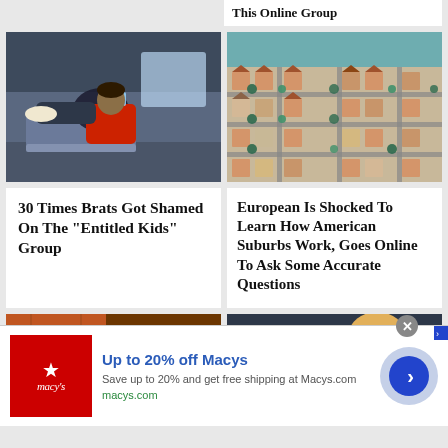[Figure (screenshot): Partial article card top — truncated headline about 'This Online Group']
[Figure (photo): Kid lying across subway seats playing on phone, wearing red jacket and sneakers]
30 Times Brats Got Shamed On The "Entitled Kids" Group
[Figure (photo): Aerial view of American suburban housing development with uniform houses and streets lined with trees]
European Is Shocked To Learn How American Suburbs Work, Goes Online To Ask Some Accurate Questions
[Figure (photo): Partial view of a sign reading TODAY IS with orange/brick background]
[Figure (photo): Partial view of a person with blonde hair against dark background]
[Figure (screenshot): Advertisement: Macy's — Up to 20% off Macys. Save up to 20% and get free shipping at Macys.com. macys.com]